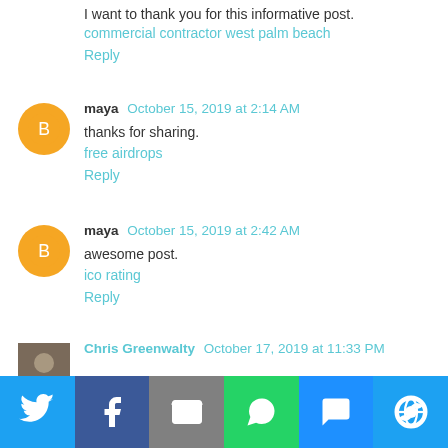I want to thank you for this informative post.
commercial contractor west palm beach
Reply
maya  October 15, 2019 at 2:14 AM
thanks for sharing.
free airdrops
Reply
maya  October 15, 2019 at 2:42 AM
awesome post.
ico rating
Reply
Chris Greenwalty  October 17, 2019 at 11:33 PM